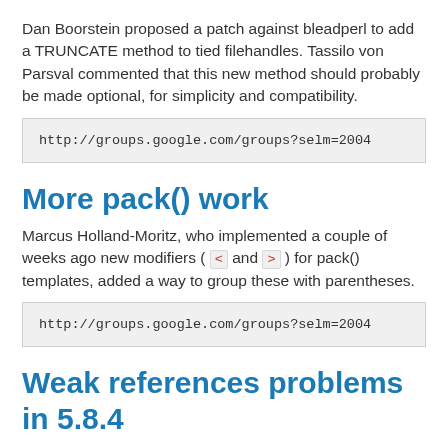Dan Boorstein proposed a patch against bleadperl to add a TRUNCATE method to tied filehandles. Tassilo von Parsval commented that this new method should probably be made optional, for simplicity and compatibility.
http://groups.google.com/groups?selm=2004
More pack() work
Marcus Holland-Moritz, who implemented a couple of weeks ago new modifiers ( < and > ) for pack() templates, added a way to group these with parentheses.
http://groups.google.com/groups?selm=2004
Weak references problems in 5.8.4